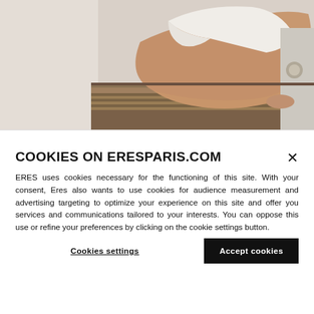[Figure (photo): Fashion photo of a model in a white swimsuit/bodysuit seated on a wooden bench, photographed from a low angle showing legs and torso against a light background.]
COOKIES ON ERESPARIS.COM
ERES uses cookies necessary for the functioning of this site. With your consent, Eres also wants to use cookies for audience measurement and advertising targeting to optimize your experience on this site and offer you services and communications tailored to your interests. You can oppose this use or refine your preferences by clicking on the cookie settings button.
Cookies settings
Accept cookies